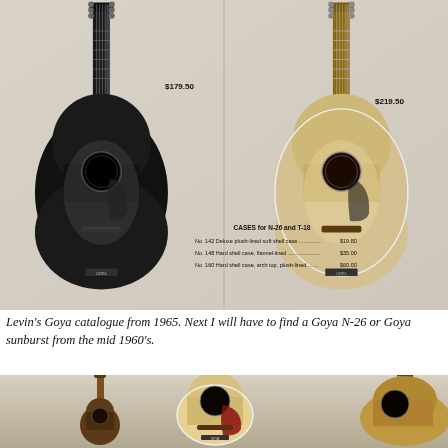[Figure (photo): Levin Goya 1965 catalogue page showing two acoustic guitars side by side. Left guitar is black sunburst finish, right guitar is natural finish. Center section shows cases pricing list. Text descriptions appear at top of each column with prices $179.50 (left) and $219.50 (right).]
Levin's Goya catalogue from 1965. Next I will have to find a Goya N-26 or Goya sunburst from the mid 1960's.
[Figure (photo): Bottom strip showing three acoustic guitars photographed against a light background. Left guitar is a slim dark-bodied guitar, center guitar is a natural-finish acoustic with red pickguard, right guitar is partially visible with a brownish body.]